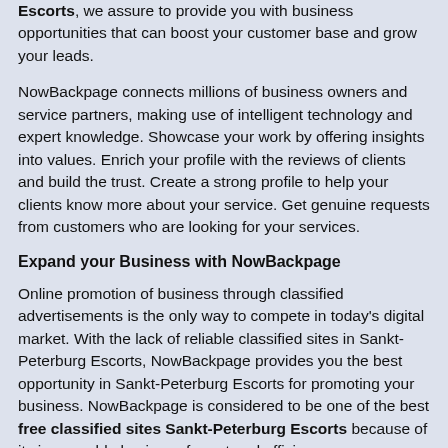Escorts, we assure to provide you with business opportunities that can boost your customer base and grow your leads.
NowBackpage connects millions of business owners and service partners, making use of intelligent technology and expert knowledge. Showcase your work by offering insights into values. Enrich your profile with the reviews of clients and build the trust. Create a strong profile to help your clients know more about your service. Get genuine requests from customers who are looking for your services.
Expand your Business with NowBackpage
Online promotion of business through classified advertisements is the only way to compete in today's digital market. With the lack of reliable classified sites in Sankt-Peterburg Escorts, NowBackpage provides you the best opportunity in Sankt-Peterburg Escorts for promoting your business. NowBackpage is considered to be one of the best free classified sites Sankt-Peterburg Escorts because of its impeccable business format and efficiency.